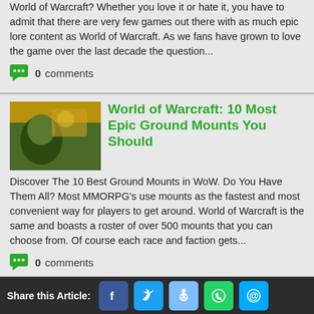World of Warcraft? Whether you love it or hate it, you have to admit that there are very few games out there with as much epic lore content as World of Warcraft. As we fans have grown to love the game over the last decade the question...
0 comments
World of Warcraft: 10 Most Epic Ground Mounts You Should
Discover The 10 Best Ground Mounts in WoW. Do You Have Them All? Most MMORPG's use mounts as the fastest and most convenient way for players to get around. World of Warcraft is the same and boasts a roster of over 500 mounts that you can choose from. Of course each race and faction gets...
0 comments
10 Reasons Why World of Warcraft Might Die Before 2020
Share this Article: